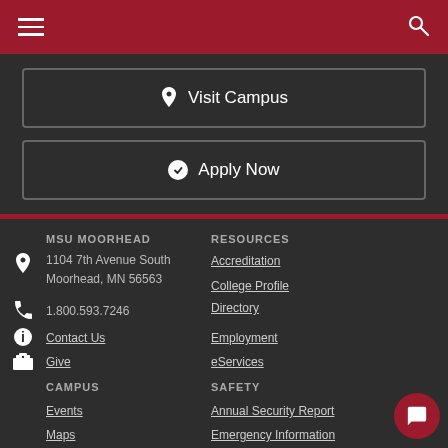MSU Moorhead navigation bar with hamburger menu and search icon
Visit Campus
Apply Now
MSU MOORHEAD
1104 7th Avenue South
Moorhead, MN 56563
1.800.593.7246
Contact Us
Give
RESOURCES
Accreditation
College Profile
Directory
Employment
eServices
CAMPUS
Events
Maps
SAFETY
Annual Security Report
Emergency Information